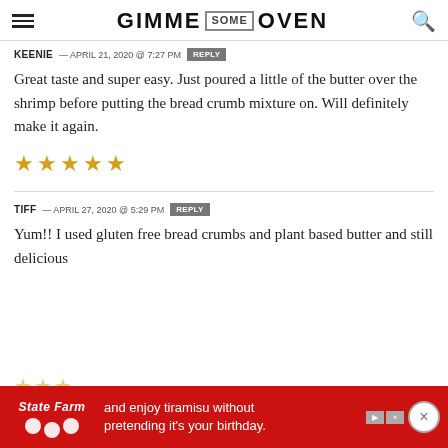GIMME SOME OVEN
KEENIE — APRIL 21, 2020 @ 7:27 PM REPLY
Great taste and super easy. Just poured a little of the butter over the shrimp before putting the bread crumb mixture on. Will definitely make it again.
[Figure (other): 5 gold star rating]
TIFF — APRIL 27, 2020 @ 5:29 PM REPLY
Yum!! I used gluten free bread crumbs and plant based butter and still delicious
[Figure (other): Partial star rating and State Farm advertisement banner]